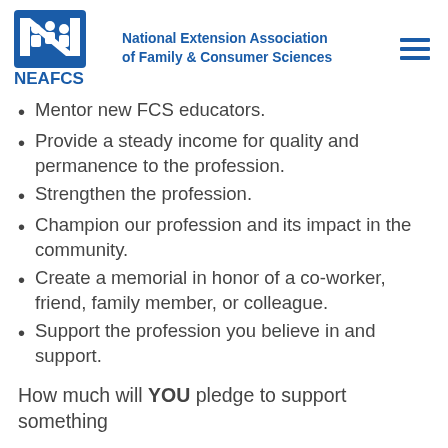[Figure (logo): NEAFCS logo — blue stylized N with people figures, text 'NEAFCS' below]
National Extension Association of Family & Consumer Sciences
Mentor new FCS educators.
Provide a steady income for quality and permanence to the profession.
Strengthen the profession.
Champion our profession and its impact in the community.
Create a memorial in honor of a co-worker, friend, family member, or colleague.
Support the profession you believe in and support.
How much will YOU pledge to support something